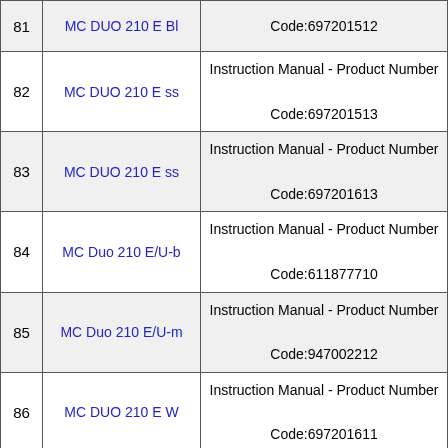| # | Product | Description |
| --- | --- | --- |
| 81 | MC DUO 210 E Bl | Code:697201512 |
| 82 | MC DUO 210 E ss | Instruction Manual - Product Number
Code:697201513 |
| 83 | MC DUO 210 E ss | Instruction Manual - Product Number
Code:697201613 |
| 84 | MC Duo 210 E/U-b | Instruction Manual - Product Number
Code:611877710 |
| 85 | MC Duo 210 E/U-m | Instruction Manual - Product Number
Code:947002212 |
| 86 | MC DUO 210 E W | Instruction Manual - Product Number
Code:697201611 |
| 87 | MC DUO 210 E W | Instruction Manual - Product Number
Code:697201511 |
| 88 | MC DUO 2231 E-B | Instruction Manual - Product Number
Code:947002321 |